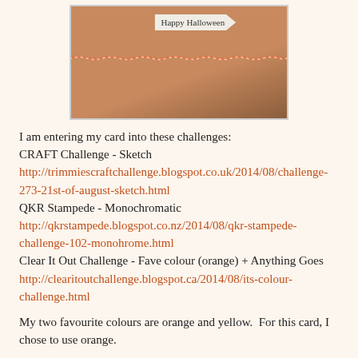[Figure (photo): A kraft paper Halloween card with a banner/arrow tag reading 'Happy Halloween' and orange/white twine stitching across the front, photographed on a wooden surface.]
I am entering my card into these challenges:
CRAFT Challenge - Sketch
http://trimmiescraftchallenge.blogspot.co.uk/2014/08/challenge-273-21st-of-august-sketch.html
QKR Stampede - Monochromatic
http://qkrstampede.blogspot.co.nz/2014/08/qkr-stampede-challenge-102-monohrome.html
Clear It Out Challenge - Fave colour (orange) + Anything Goes
http://clearitoutchallenge.blogspot.ca/2014/08/its-colour-challenge.html
My two favourite colours are orange and yellow.  For this card, I chose to use orange.
I have used a paper from Kaisercraft which I bought recently on